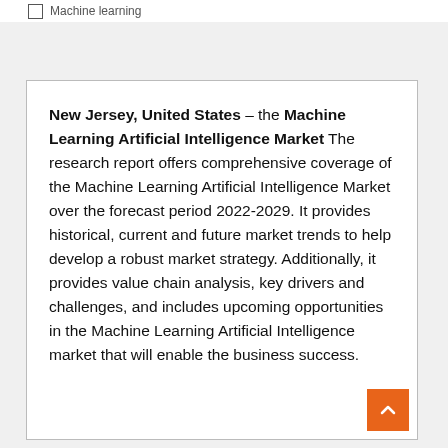Machine learning
New Jersey, United States – the Machine Learning Artificial Intelligence Market The research report offers comprehensive coverage of the Machine Learning Artificial Intelligence Market over the forecast period 2022-2029. It provides historical, current and future market trends to help develop a robust market strategy. Additionally, it provides value chain analysis, key drivers and challenges, and includes upcoming opportunities in the Machine Learning Artificial Intelligence market that will enable the business success.